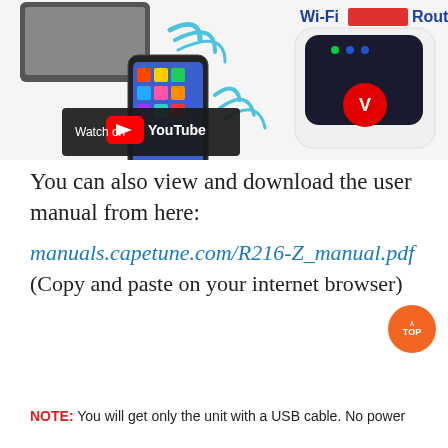[Figure (screenshot): Screenshot showing a YouTube video thumbnail with a smartphone and WiFi signals, and a Vodafone Wi-Fi router on the right. The YouTube overlay reads 'Watch on YouTube'.]
You can also view and download the user manual from here:
manuals.capetune.com/R216-Z_manual.pdf (Copy and paste on your internet browser)
NOTE: You will get only the unit with a USB cable. No power